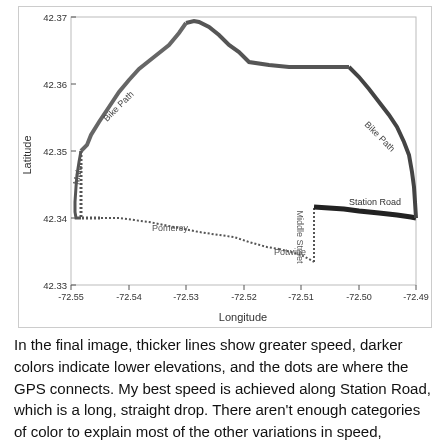[Figure (continuous-plot): A GPS route map showing a cycling route plotted as latitude vs longitude. The route includes labeled segments: Bike Path (upper left and upper right), Main (left side), Pomeroy (lower left), Potwine (lower center), Middle Street (lower right, vertical label), and Station Road (right side). Lines vary in thickness (indicating speed) and darkness (indicating elevation). Dotted sections show GPS connects. X-axis ranges from -72.55 to -72.49. Y-axis ranges from 42.33 to 42.37.]
In the final image, thicker lines show greater speed, darker colors indicate lower elevations, and the dots are where the GPS connects. My best speed is achieved along Station Road, which is a long, straight drop. There aren't enough categories of color to explain most of the other variations in speed, although you can see me get slower as I near Middle